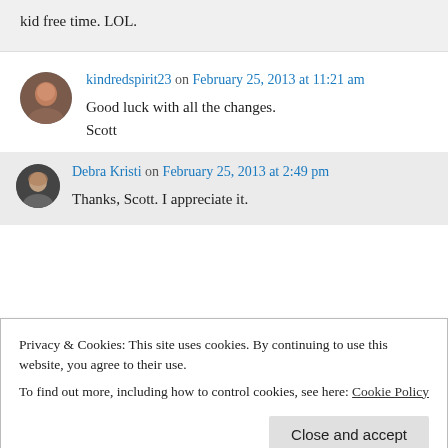kid free time. LOL.
kindredspirit23 on February 25, 2013 at 11:21 am
Good luck with all the changes.
Scott
Debra Kristi on February 25, 2013 at 2:49 pm
Thanks, Scott. I appreciate it.
Privacy & Cookies: This site uses cookies. By continuing to use this website, you agree to their use. To find out more, including how to control cookies, see here: Cookie Policy
Close and accept
if Artemis is going to show up 🙂 She's one of